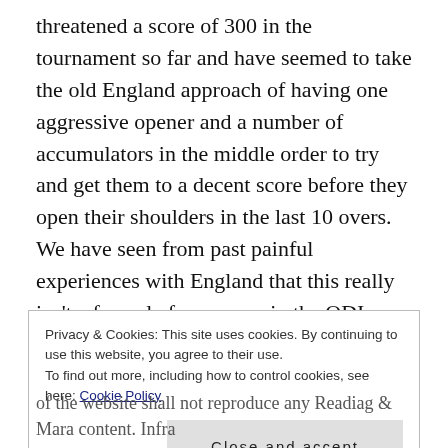threatened a score of 300 in the tournament so far and have seemed to take the old England approach of having one aggressive opener and a number of accumulators in the middle order to try and get them to a decent score before they open their shoulders in the last 10 overs. We have seen from past painful experiences with England that this really isn't a formula for success in the ODI arena, so one would hope that Pakistan will throw off the shackles with their batting tomorrow. We shall see.
As for England, it's more of the same please, but with one
Privacy & Cookies: This site uses cookies. By continuing to use this website, you agree to their use.
To find out more, including how to control cookies, see here: Cookie Policy
of the website shall not reproduce any Readiag & Mara content. Infra